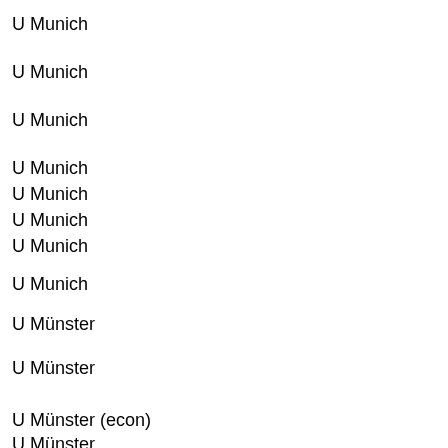U Munich
U Munich
U Munich
U Munich
U Munich
U Munich
U Munich
U Munich
U Münster
U Münster
U Münster (econ)
U Münster
U Münster